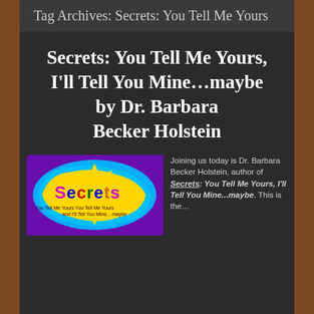Tag Archives: Secrets: You Tell Me Yours
Secrets: You Tell Me Yours, I'll Tell You Mine...maybe by Dr. Barbara Becker Holstein
[Figure (illustration): Book cover for 'Secrets: You Tell Me Yours and I'll Tell You Mine... maybe' with colorful splash design, purple background, yellow starburst, blue swirly border, and the word 'Secrets' in large multicolored letters.]
Joining us today is Dr. Barbara Becker Holstein, author of Secrets: You Tell Me Yours, I'll Tell You Mine...maybe. This is the...